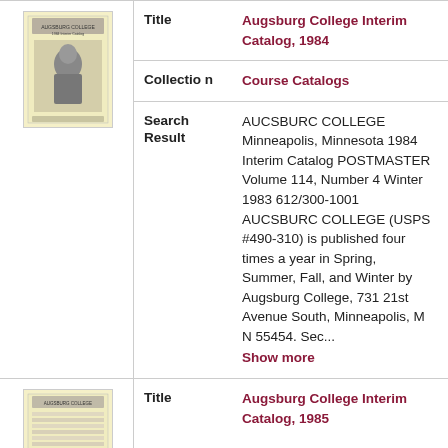[Figure (illustration): Thumbnail cover image of Augsburg College Interim Catalog 1984, yellowish background with a photograph of a person]
Title
Augsburg College Interim Catalog, 1984
Collection
Course Catalogs
Search Result
AUCSBURC COLLEGE Minneapolis, Minnesota 1984 Interim Catalog POSTMASTER Volume 114, Number 4 Winter 1983 612/300-1001 AUCSBURC COLLEGE (USPS #490-310) is published four times a year in Spring, Summer, Fall, and Winter by Augsburg College, 731 21st Avenue South, Minneapolis, M N 55454. Sec...
Show more
[Figure (illustration): Thumbnail cover image of Augsburg College Interim Catalog 1985, yellowish background with text/table content]
Title
Augsburg College Interim Catalog, 1985